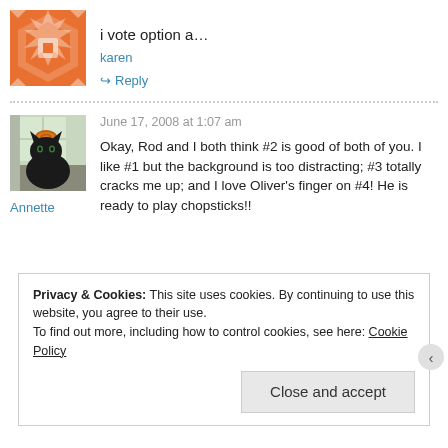[Figure (illustration): Orange and white decorative geometric/quilt pattern avatar for user karen]
i vote option a...
karen
Reply
[Figure (photo): Photo of a black cat with an orange ring toy on its head, near a window]
June 17, 2008 at 1:07 am
Okay, Rod and I both think #2 is good of both of you. I like #1 but the background is too distracting; #3 totally cracks me up; and I love Oliver's finger on #4! He is ready to play chopsticks!!
Annette
Privacy & Cookies: This site uses cookies. By continuing to use this website, you agree to their use. To find out more, including how to control cookies, see here: Cookie Policy
Close and accept